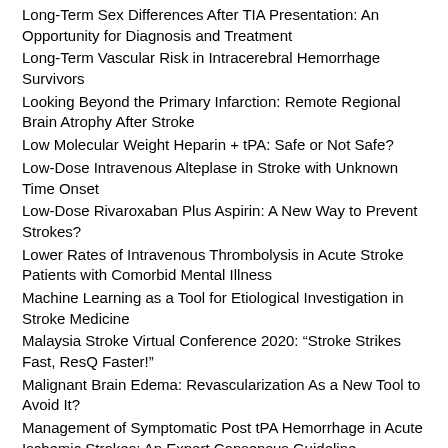Long-Term Sex Differences After TIA Presentation: An Opportunity for Diagnosis and Treatment
Long-Term Vascular Risk in Intracerebral Hemorrhage Survivors
Looking Beyond the Primary Infarction: Remote Regional Brain Atrophy After Stroke
Low Molecular Weight Heparin + tPA: Safe or Not Safe?
Low-Dose Intravenous Alteplase in Stroke with Unknown Time Onset
Low-Dose Rivaroxaban Plus Aspirin: A New Way to Prevent Strokes?
Lower Rates of Intravenous Thrombolysis in Acute Stroke Patients with Comorbid Mental Illness
Machine Learning as a Tool for Etiological Investigation in Stroke Medicine
Malaysia Stroke Virtual Conference 2020: “Stroke Strikes Fast, ResQ Faster!”
Malignant Brain Edema: Revascularization As a New Tool to Avoid It?
Management of Symptomatic Post tPA Hemorrhage in Acute Ischemic Strokes: An Expert Consensus Guideline
Managing Tandem Occlusions From Carotid Dissection: To Stent or Not to Stent?
Mechanical Thrombectomy in Patients with Minor Strokes and Large Vessel Occlusion: The “Too Good to Intervene” Dilemma
Mechanical Thrombectomy in Vertebrobasilar Occlusion: Still Looking for Evidence
Medication Adherence Poststroke/TIA: Does Every Missed Dose Matter?
Medium Vessel Occlusion: How Far is Enough?